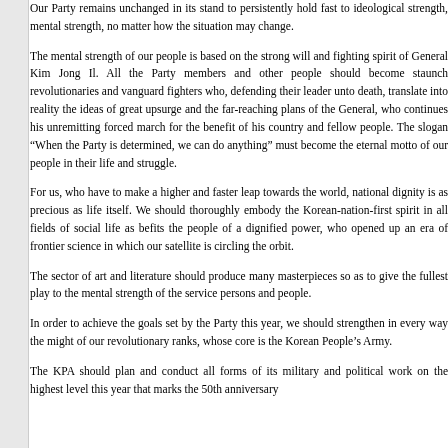Our Party remains unchanged in its stand to persistently hold fast to ideological strength, mental strength, no matter how the situation may change.
The mental strength of our people is based on the strong will and fighting spirit of General Kim Jong Il. All the Party members and other people should become staunch revolutionaries and vanguard fighters who, defending their leader unto death, translate into reality the ideas of great upsurge and the far-reaching plans of the General, who continues his unremitting forced march for the benefit of his country and fellow people. The slogan “When the Party is determined, we can do anything” must become the eternal motto of our people in their life and struggle.
For us, who have to make a higher and faster leap towards the world, national dignity is as precious as life itself. We should thoroughly embody the Korean-nation-first spirit in all fields of social life as befits the people of a dignified power, who opened up an era of frontier science in which our satellite is circling the orbit.
The sector of art and literature should produce many masterpieces so as to give the fullest play to the mental strength of the service persons and people.
In order to achieve the goals set by the Party this year, we should strengthen in every way the might of our revolutionary ranks, whose core is the Korean People’s Army.
The KPA should plan and conduct all forms of its military and political work on the highest level this year that marks the 50th anniversary